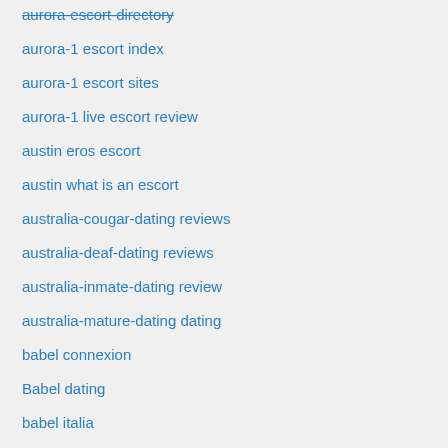aurora-escort-directory
aurora-1 escort index
aurora-1 escort sites
aurora-1 live escort review
austin eros escort
austin what is an escort
australia-cougar-dating reviews
australia-deaf-dating reviews
australia-inmate-dating review
australia-mature-dating dating
babel connexion
Babel dating
babel italia
babel search
babel sign in